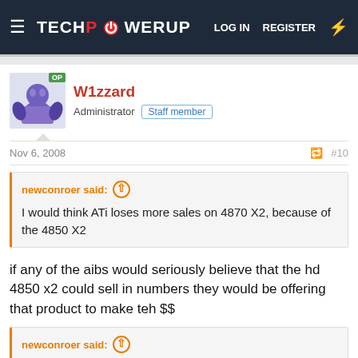[Figure (screenshot): TechPowerUp website navigation header with hamburger menu, logo, LOG IN, REGISTER, and bolt icon]
W1zzard
Administrator  Staff member
Nov 6, 2008  #10
newconroer said:
I would think ATi loses more sales on 4870 X2, because of the 4850 X2
if any of the aibs would seriously believe that the hd 4850 x2 could sell in numbers they would be offering that product to make teh $$
newconroer said:
Anyways, I think we need to donate some newer titles to Wiz, cause seriously, Prey? Splinter Cell?